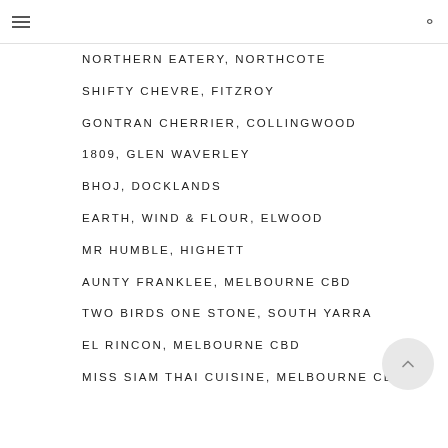NORTHERN EATERY, NORTHCOTE
SHIFTY CHEVRE, FITZROY
GONTRAN CHERRIER, COLLINGWOOD
1809, GLEN WAVERLEY
BHOJ, DOCKLANDS
EARTH, WIND & FLOUR, ELWOOD
MR HUMBLE, HIGHETT
AUNTY FRANKLEE, MELBOURNE CBD
TWO BIRDS ONE STONE, SOUTH YARRA
EL RINCON, MELBOURNE CBD
MISS SIAM THAI CUISINE, MELBOURNE CBD